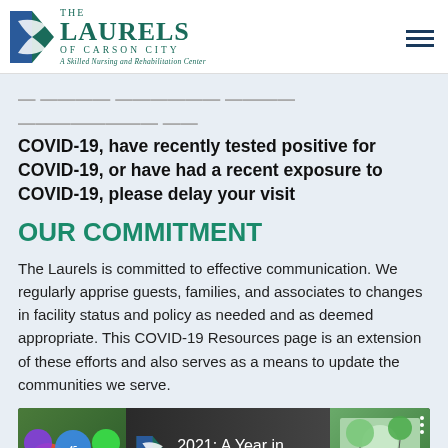The Laurels of Carson City — A Skilled Nursing and Rehabilitation Center
COVID-19, have recently tested positive for COVID-19, or have had a recent exposure to COVID-19, please delay your visit
OUR COMMITMENT
The Laurels is committed to effective communication. We regularly apprise guests, families, and associates to changes in facility status and policy as needed and as deemed appropriate. This COVID-19 Resources page is an extension of these efforts and also serves as a means to update the communities we serve.
[Figure (screenshot): Video thumbnail titled '2021: A Year in Review' showing bingo balls, a masked person, and a person with green balloons]